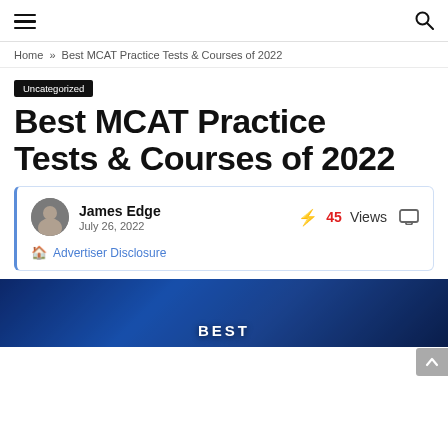≡ [hamburger menu] [search icon]
Home » Best MCAT Practice Tests & Courses of 2022
Uncategorized
Best MCAT Practice Tests & Courses of 2022
James Edge
July 26, 2022
⚡ 45 Views 💬
🏢 Advertiser Disclosure
[Figure (photo): Hero image showing medical/surgical scene with blue tones and text 'BEST' visible at bottom]